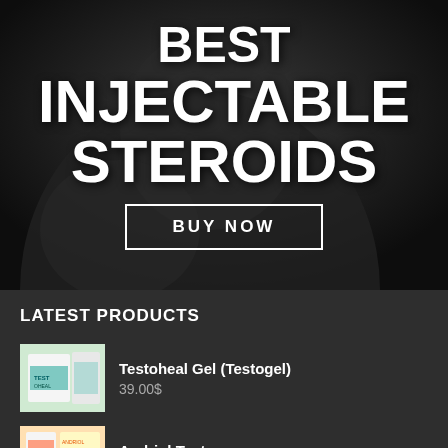[Figure (photo): Muscular tattooed man smiling, dark background, used as hero image]
BEST INJECTABLE STEROIDS
BUY NOW
LATEST PRODUCTS
Testoheal Gel (Testogel)
39.00$
Andriol Testocaps
30.00$